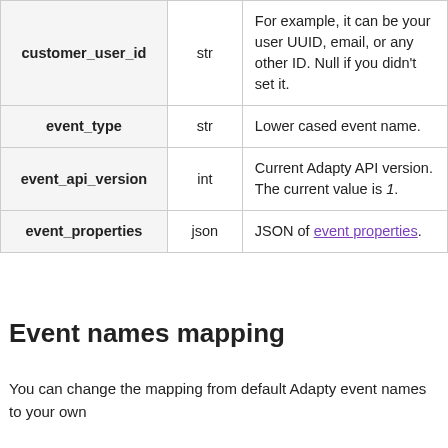| customer_user_id | str | For example, it can be your user UUID, email, or any other ID. Null if you didn't set it. |
| event_type | str | Lower cased event name. |
| event_api_version | int | Current Adapty API version. The current value is 1. |
| event_properties | json | JSON of event properties. |
Event names mapping
You can change the mapping from default Adapty event names to your own